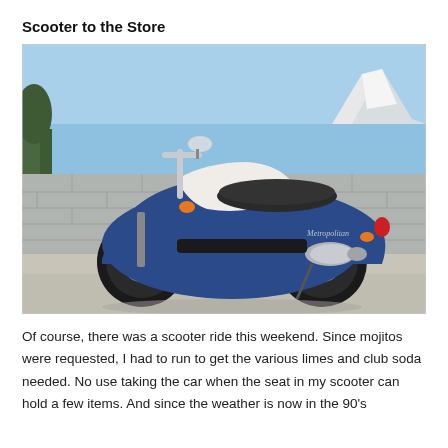Scooter to the Store
[Figure (photo): Side-view photo of a blue and white Honda Metropolitan scooter parked on a concrete driveway in front of a cinder block wall. Clear blue sky and snow-capped mountains visible in the background. Trees visible on left side.]
Of course, there was a scooter ride this weekend. Since mojitos were requested, I had to run to get the various limes and club soda needed. No use taking the car when the seat in my scooter can hold a few items. And since the weather is now in the 90's